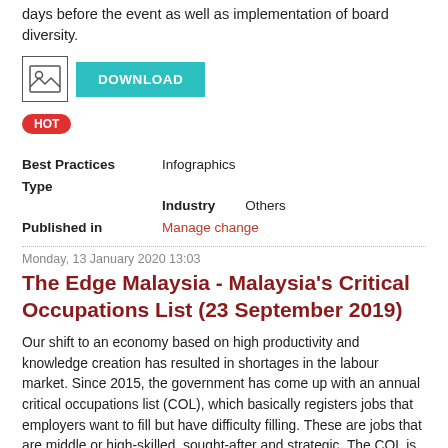days before the event as well as implementation of board diversity.
[Figure (other): Download button with image icon and teal DOWNLOAD button]
HOT
Best Practices Type   Infographics
Industry   Others
Published in   Manage change
Monday, 13 January 2020 13:03
The Edge Malaysia - Malaysia's Critical Occupations List (23 September 2019)
Our shift to an economy based on high productivity and knowledge creation has resulted in shortages in the labour market. Since 2015, the government has come up with an annual critical occupations list (COL), which basically registers jobs that employers want to fill but have difficulty filling. These are jobs that are middle or high-skilled, sought-after and strategic. The COL is